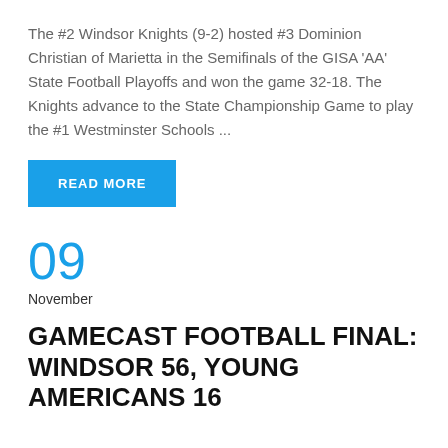The #2 Windsor Knights (9-2) hosted #3 Dominion Christian of Marietta in the Semifinals of the GISA 'AA' State Football Playoffs and won the game 32-18. The Knights advance to the State Championship Game to play the #1 Westminster Schools ...
READ MORE
09
November
GAMECAST FOOTBALL FINAL: WINDSOR 56, YOUNG AMERICANS 16